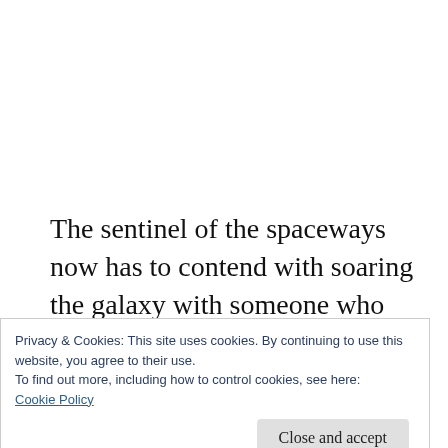The sentinel of the spaceways now has to contend with soaring the galaxy with someone who has to eat, sleep, and make planetfall for toilet breaks. The surfboard needs a washroom.
Privacy & Cookies: This site uses cookies. By continuing to use this website, you agree to their use.
To find out more, including how to control cookies, see here:
Cookie Policy
Close and accept